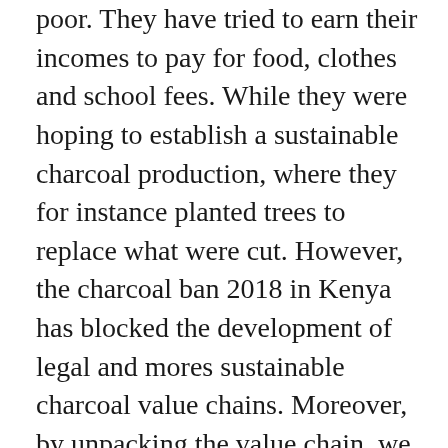poor. They have tried to earn their incomes to pay for food, clothes and school fees. While they were hoping to establish a sustainable charcoal production, where they for instance planted trees to replace what were cut. However, the charcoal ban 2018 in Kenya has blocked the development of legal and mores sustainable charcoal value chains. Moreover, by unpacking the value chain, we can see that consumers are not only concentrated in cities, but also in rural areas. Rural value chain actors deal in